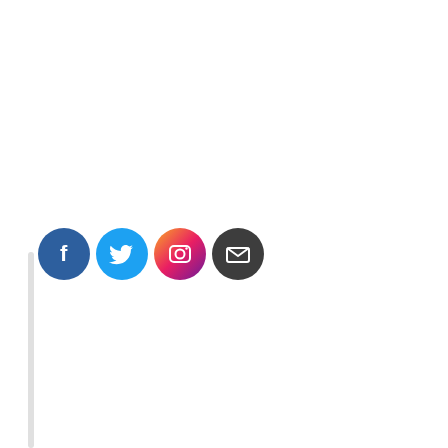[Figure (infographic): Four social media / contact icons in circles arranged horizontally: Facebook (dark blue circle with white 'f'), Twitter (light blue circle with white bird), Instagram (gradient orange-pink-purple circle with white camera outline), Email (dark charcoal circle with white envelope)]